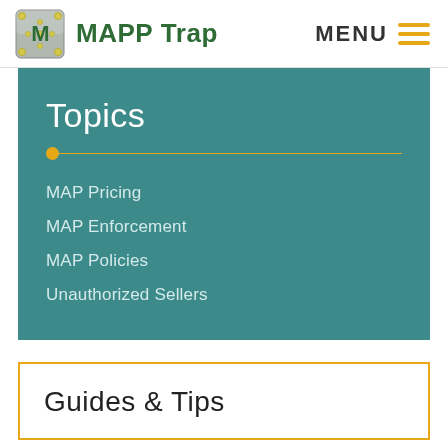[Figure (logo): MAPP Trap logo with metallic M icon and green text]
MENU
Topics
MAP Pricing
MAP Enforcement
MAP Policies
Unauthorized Sellers
Guides & Tips